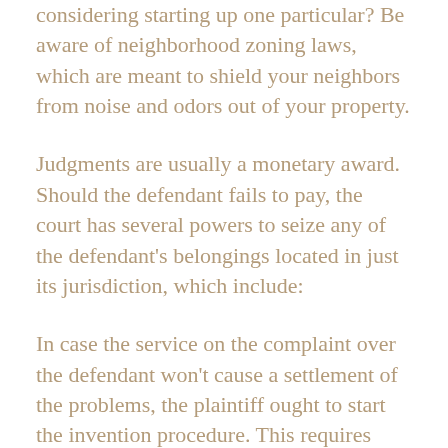considering starting up one particular? Be aware of neighborhood zoning laws, which are meant to shield your neighbors from noise and odors out of your property.
Judgments are usually a monetary award. Should the defendant fails to pay, the court has several powers to seize any of the defendant's belongings located in just its jurisdiction, which include:
In case the service on the complaint over the defendant won't cause a settlement of the problems, the plaintiff ought to start the invention procedure. This requires sending to the defendant created thoughts (termed interrogatories) that search for info involving the dispute at problem. The plaintiff may well depose the defendant and Other